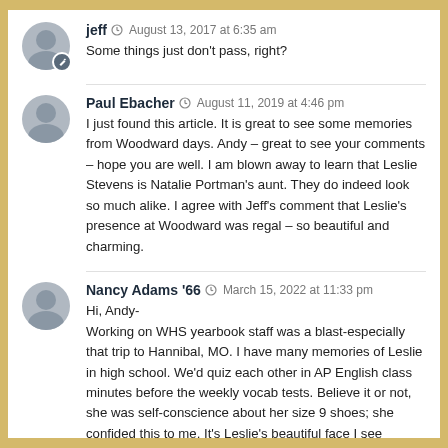jeff  August 13, 2017 at 6:35 am
Some things just don't pass, right?
Paul Ebacher  August 11, 2019 at 4:46 pm
I just found this article. It is great to see some memories from Woodward days. Andy – great to see your comments – hope you are well. I am blown away to learn that Leslie Stevens is Natalie Portman's aunt. They do indeed look so much alike. I agree with Jeff's comment that Leslie's presence at Woodward was regal – so beautiful and charming.
Nancy Adams '66  March 15, 2022 at 11:33 pm
Hi, Andy-
Working on WHS yearbook staff was a blast-especially that trip to Hannibal, MO. I have many memories of Leslie in high school. We'd quiz each other in AP English class minutes before the weekly vocab tests. Believe it or not, she was self-conscience about her size 9 shoes; she confided this to me. It's Leslie's beautiful face I see whenever Natalie Portman is